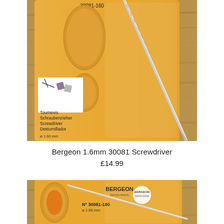[Figure (photo): Bergeon 30081-160 screwdriver in yellow/orange retail packaging on a wooden surface. The package shows multilingual text: Tournevis, Schraubenzieher, Screwdriver, Destornillador, and diameter 1.60mm. A silver metal screwdriver with knurled handle is visible.]
Bergeon 1.6mm 30081 Screwdriver
£14.99
[Figure (photo): Bergeon Swiss Made screwdriver N° 30081-180, diameter 1.80mm, in yellow/orange retail packaging on a wooden surface. The Bergeon logo and 'Swiss Made' text are visible. A silver metal screwdriver with orange handle is partially visible.]